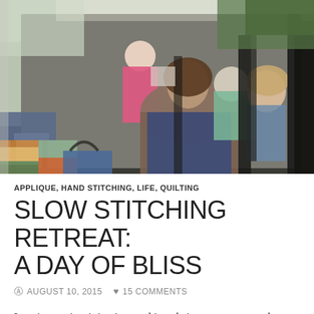[Figure (photo): Group of women sitting in rocking chairs on a sunny porch, doing hand stitching and quilting work together. A colorful quilt is visible in the lower left corner.]
APPLIQUE, HAND STITCHING, LIFE, QUILTING
SLOW STITCHING RETREAT: A DAY OF BLISS
AUGUST 10, 2015   15 COMMENTS
Imagine you're sitting in a rocking chair on a sunny porch, sunbeams playing at your feet, a cool breeze blowing your hair, fabric in your hands, slowly stitching your way through the day